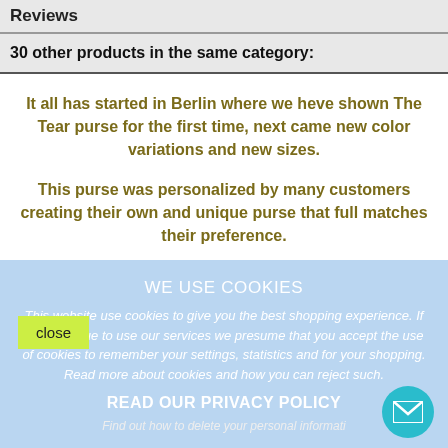Reviews
30 other products in the same category:
It all has started in Berlin where we heve shown The Tear purse for the first time, next came new color variations and new sizes.
This purse was personalized by many customers creating their own and unique purse that full matches their preference.
WE USE COOKIES
This website use cookies to give you the best shopping experience. If you continue to use our services we presume that you accept the use of cookies to remember your settings, statistics and for your shopping. Read more about cookies and how you can reject such.
close
READ OUR PRIVACY POLICY
Find out how to delete your personal informati...